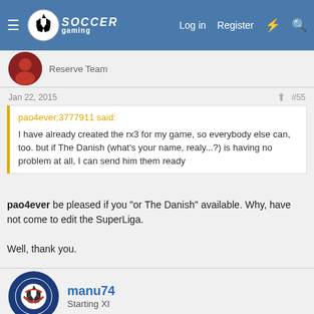Soccer Gaming — Log in | Register
Reserve Team
Jan 22, 2015  #55
pao4ever;3777911 said:
I have already created the rx3 for my game, so everybody else can, too. but if The Danish (what's your name, realy...?) is having no problem at all, I can send him them ready
pao4ever be pleased if you "or The Danish" available. Why, have not come to edit the SuperLiga.

Well, thank you.
manu74
Starting XI
Jan 23, 2015  #56